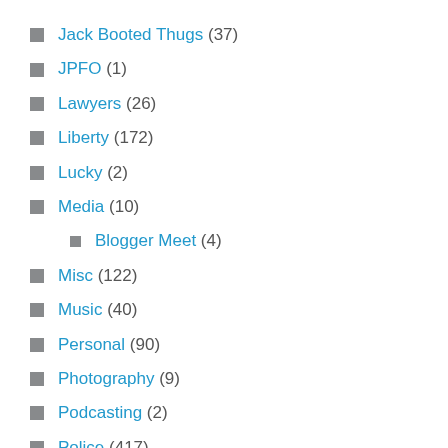Jack Booted Thugs (37)
JPFO (1)
Lawyers (26)
Liberty (172)
Lucky (2)
Media (10)
Blogger Meet (4)
Misc (122)
Music (40)
Personal (90)
Photography (9)
Podcasting (2)
Police (417)